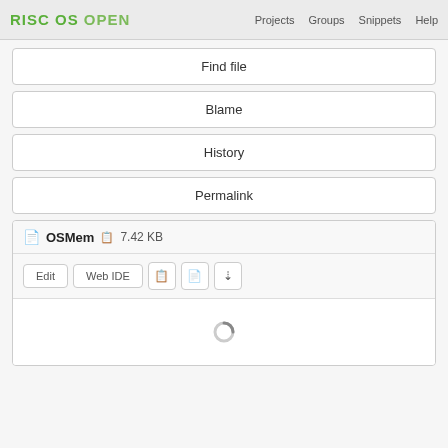RISC OS OPEN  Projects  Groups  Snippets  Help
Find file
Blame
History
Permalink
OSMem  7.42 KB
Edit  Web IDE  [copy icon] [raw icon] [download icon]
[Figure (other): Loading spinner circle indicator]